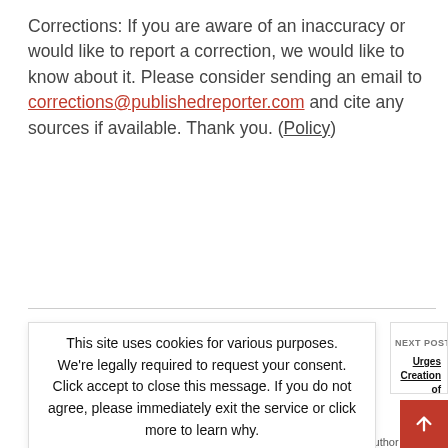Corrections: If you are aware of an inaccuracy or would like to report a correction, we would like to know about it. Please consider sending an email to corrections@publishedreporter.com and cite any sources if available. Thank you. (Policy)
This site uses cookies for various purposes. We're legally required to request your consent. Click accept to close this message. If you do not agree, please immediately exit the service or click more to learn why.
Accept
More
NEXT POST →
Urges Creation of Florida Legislative mittee on Climate Change
You Might Also Like
More From Author